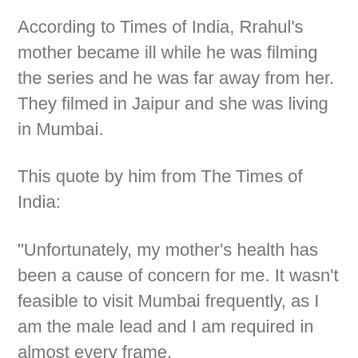According to Times of India, Rrahul's mother became ill while he was filming the series and he was far away from her. They filmed in Jaipur and she was living in Mumbai.
This quote by him from The Times of India:
"Unfortunately, my mother’s health has been a cause of concern for me. It wasn’t feasible to visit Mumbai frequently, as I am the male lead and I am required in almost every frame.
I began worrying so much about my mom’s health that it started affecting my work. I wasn’t comfortable with that, so I didn’t want to